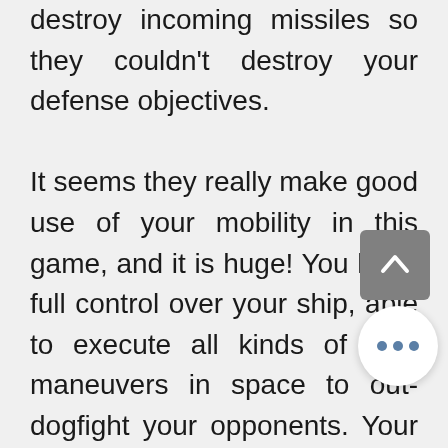destroy incoming missiles so they couldn't destroy your defense objectives.

It seems they really make good use of your mobility in this game, and it is huge! You have full control over your ship, able to execute all kinds of cool maneuvers in space to out-dogfight your opponents. Your load out includes some seriously power armaments, including pulse rifles with different modes of fire—either sequential or linked, depending on how much of your ships energy you want to dole out—auto-tracking machine guns that are perfect for getting up close and personal with a fast opp that you may be having problems h g with your pulse rifle due to how much